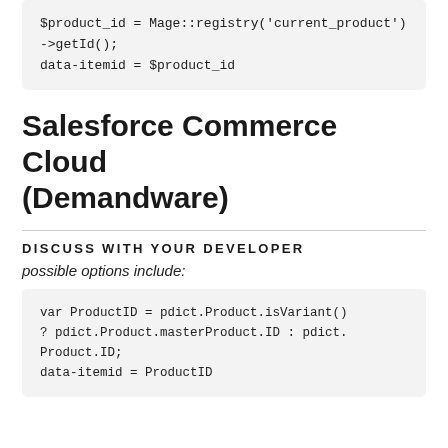[Figure (screenshot): Code block showing: $product_id = Mage::registry('current_product')->getId();
data-itemid = $product_id]
Salesforce Commerce Cloud (Demandware)
DISCUSS WITH YOUR DEVELOPER
possible options include:
[Figure (screenshot): Code block showing: var ProductID = pdict.Product.isVariant() ? pdict.Product.masterProduct.ID : pdict.Product.ID;
data-itemid = ProductID]